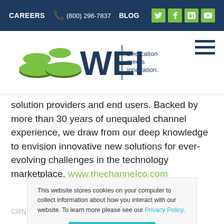CAREERS  (800) 296-7837  BLOG
[Figure (logo): WEI logo with green disc graphics and tagline 'Dedication meets innovation.']
solution providers and end users. Backed by more than 30 years of unequaled channel experience, we draw from our deep knowledge to envision innovative new solutions for ever-evolving challenges in the technology marketplace. www.thechannelco.com
This website stores cookies on your computer to collect information about how you interact with our website. To learn more please see our Privacy Policy.
Okay, got it.